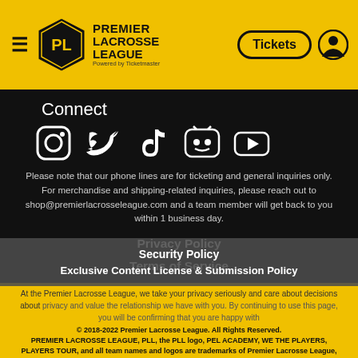Premier Lacrosse League – site header with Tickets button and user icon
Connect
[Figure (illustration): Social media icons: Instagram, Twitter, TikTok, Discord, YouTube]
Please note that our phone lines are for ticketing and general inquiries only. For merchandise and shipping-related inquiries, please reach out to shop@premierlacrosseleague.com and a team member will get back to you within 1 business day.
Privacy Policy
Terms of Service
Ticket Terms & Conditions
Security Policy
Exclusive Content License & Submission Policy
At the Premier Lacrosse League, we take your privacy seriously and care about the decisions you make about privacy and value the relationship we have with you. By continuing to use this site, you will be confirming that you are happy with
© 2018-2022 Premier Lacrosse League. All Rights Reserved. PREMIER LACROSSE LEAGUE, PLL, the PLL logo, PEL ACADEMY, WE THE PLAYERS, PLAYERS TOUR, and all team names and logos are trademarks of Premier Lacrosse League, Inc.